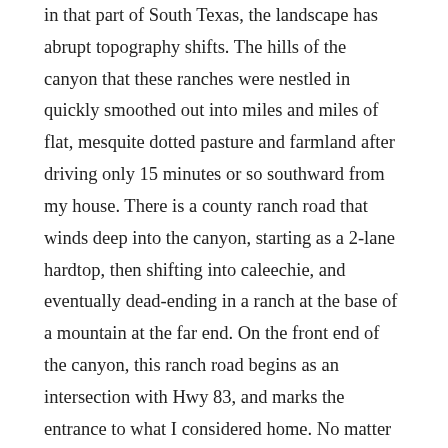in that part of South Texas, the landscape has abrupt topography shifts. The hills of the canyon that these ranches were nestled in quickly smoothed out into miles and miles of flat, mesquite dotted pasture and farmland after driving only 15 minutes or so southward from my house. There is a county ranch road that winds deep into the canyon, starting as a 2-lane hardtop, then shifting into caleechie, and eventually dead-ending in a ranch at the base of a mountain at the far end. On the front end of the canyon, this ranch road begins as an intersection with Hwy 83, and marks the entrance to what I considered home. No matter where I traveled as a child….whether just the 40 minute drive to school or the grocery store….or a two week road trip to British Columbia or other foray into the Western United States….once I hit the beginning of that ranch road and the mouth of the Dry Frio Canyon….I was home.